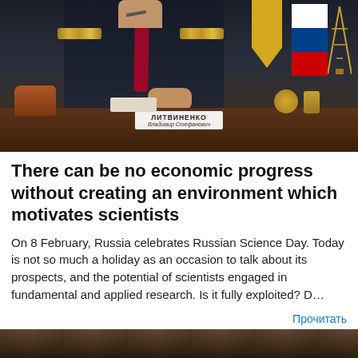[Figure (photo): Official in military/official uniform with gold shoulder boards and red tie, seated at a wooden desk. A nameplate reading 'ЛИТВИНЕНКО Владимир Стефанович' is visible on the desk. Gold decorative items, a sculpture, papers, and an oil derrick figurine on the desk. Russian flag and yellow pennant in background.]
There can be no economic progress without creating an environment which motivates scientists
On 8 February, Russia celebrates Russian Science Day. Today is not so much a holiday as an occasion to talk about its prospects, and the potential of scientists engaged in fundamental and applied research. Is it fully exploited? D…
Прочитать
[Figure (photo): Bottom strip of a dark brown/earthy toned photograph, partially visible at the bottom of the page.]